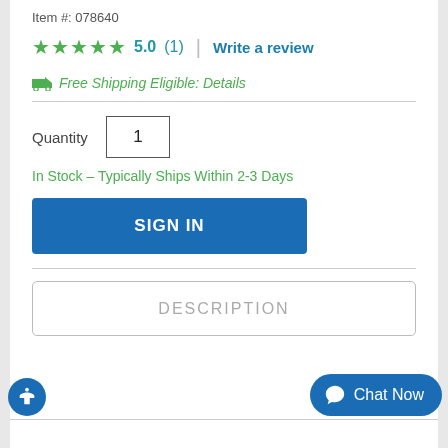Item #: 078640
★★★★★ 5.0 (1) | Write a review
🚚 Free Shipping Eligible: Details
Quantity [1]
In Stock – Typically Ships Within 2-3 Days
SIGN IN
DESCRIPTION
Chat Now